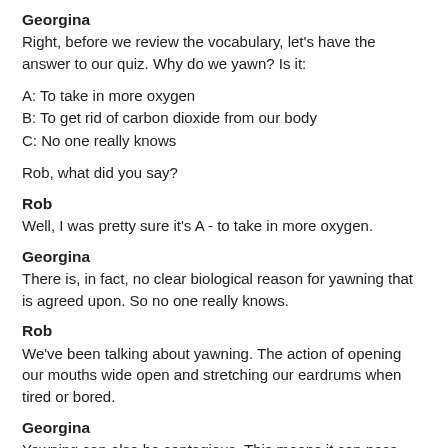Georgina
Right, before we review the vocabulary, let's have the answer to our quiz. Why do we yawn? Is it:
A: To take in more oxygen
B: To get rid of carbon dioxide from our body
C: No one really knows
Rob, what did you say?
Rob
Well, I was pretty sure it's A - to take in more oxygen.
Georgina
There is, in fact, no clear biological reason for yawning that is agreed upon. So no one really knows.
Rob
We've been talking about yawning. The action of opening our mouths wide open and stretching our eardrums when tired or bored.
Georgina
Yawning can also be contagious. This means it can pass